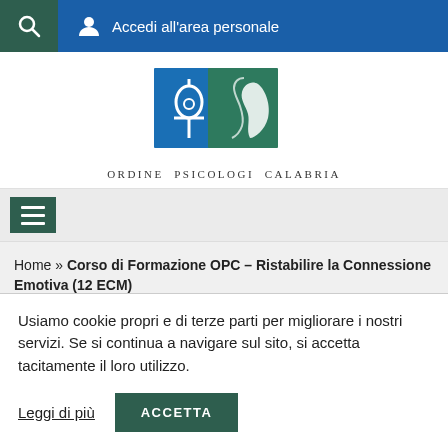Accedi all'area personale
[Figure (logo): Ordine Psicologi Calabria logo with two overlapping squares in blue and green showing stylized profile and symbol, with text 'Ordine Psicologi Calabria' below]
Home » Corso di Formazione OPC – Ristabilire la Connessione Emotiva (12 ECM)
Usiamo cookie propri e di terze parti per migliorare i nostri servizi. Se si continua a navigare sul sito, si accetta tacitamente il loro utilizzo.
Leggi di più   ACCETTA